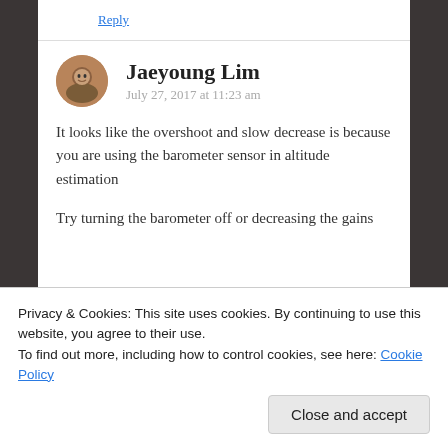Reply
Jaeyoung Lim
July 27, 2017 at 11:23 am
It looks like the overshoot and slow decrease is because you are using the barometer sensor in altitude estimation
Try turning the barometer off or decreasing the gains
Privacy & Cookies: This site uses cookies. By continuing to use this website, you agree to their use.
To find out more, including how to control cookies, see here: Cookie Policy